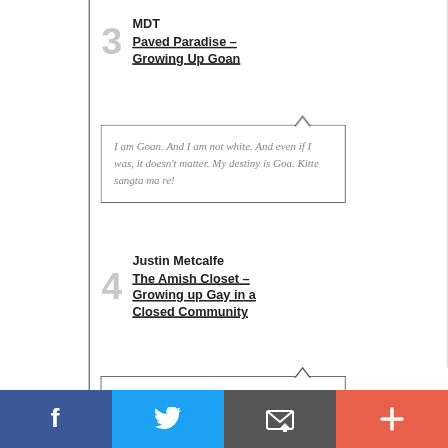3 MDT Paved Paradise – Growing Up Goan
I am Goan. And I am not white. And even if I was, it doesn't matter. My destiny is Goa. Kitte sangta ma re!
4 Justin Metcalfe The Amish Closet – Growing up Gay in a Closed Community
This is true. But times are a
[Figure (infographic): Social media share bar with Facebook (blue), Twitter (light blue), Email/share (dark grey), and Plus (orange-red) buttons]